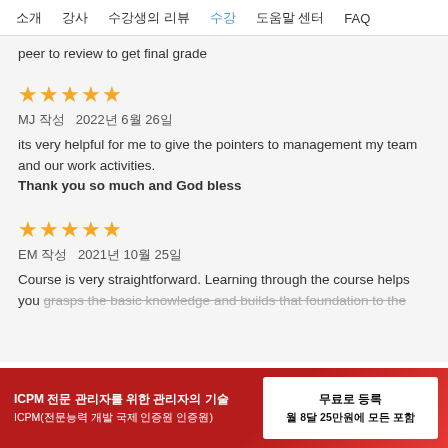소개  강사  수강생의 리뷰  수강  도움말 센터  FAQ
peer to review to get final grade
MJ 작성  2022년 6월 26일
its very helpful for me to give the pointers to management my team and our work activities.
Thank you so much and God bless
EM 작성  2021년 10월 25일
Course is very straightforward. Learning through the course helps you grasps the basic knowledge and builds that foundation to the next
ICPM 전문 관리자를 위한 관리자의 기술
ICPM(전문능력 개발 국제 인증원 인증원)
무료로 등록
월 8달 25만원에 모든 포함